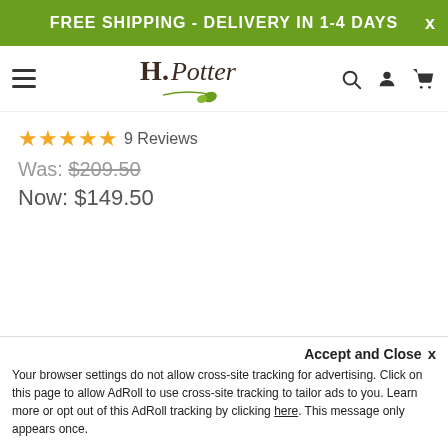FREE SHIPPING - DELIVERY IN 1-4 DAYS
[Figure (logo): H. Potter brand logo with stylized text and leaf graphic]
★★★★★ 9 Reviews
Was: $209.50
Now: $149.50
Quantity    Was: $492.00
            $401.00
Accept and Close ×
Your browser settings do not allow cross-site tracking for advertising. Click on this page to allow AdRoll to use cross-site tracking to tailor ads to you. Learn more or opt out of this AdRoll tracking by clicking here. This message only appears once.